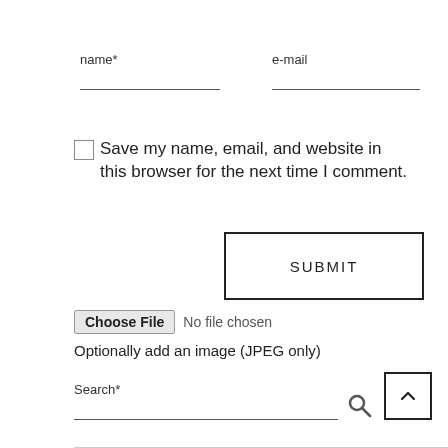name*
e-mail
Save my name, email, and website in this browser for the next time I comment.
SUBMIT
Choose File  No file chosen
Optionally add an image (JPEG only)
Search*